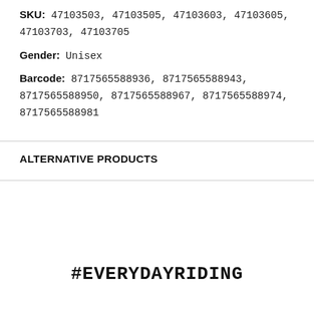SKU: 47103503, 47103505, 47103603, 47103605, 47103703, 47103705
Gender: Unisex
Barcode: 8717565588936, 8717565588943, 8717565588950, 8717565588967, 8717565588974, 8717565588981
ALTERNATIVE PRODUCTS
#EVERYDAYRIDING